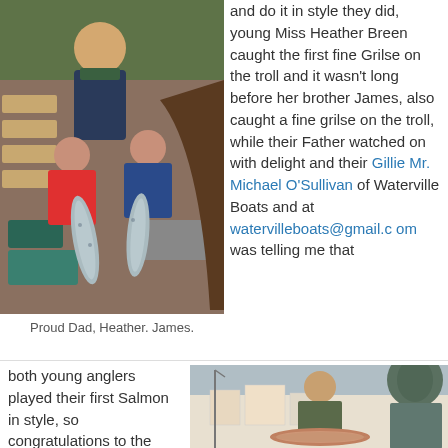[Figure (photo): A man and two children (girl and boy) on a boat holding fish (salmon/grilse), with wooden boat seats and foliage visible in background.]
Proud Dad, Heather. James.
and do it in style they did, young Miss Heather Breen caught the first fine Grilse on the troll and it wasn't long before her brother James, also caught a fine grilse on the troll, while their Father watched on with delight and their Gillie Mr. Michael O'Sullivan of Waterville Boats and at watervilleboats@gmail.com was telling me that
both young anglers played their first Salmon in style, so congratulations to the both of them and their Dad on a great catch. Staying on the
[Figure (photo): An older man standing outdoors holding a large salmon, with a bronze statue visible to the right and a town street scene in the background.]